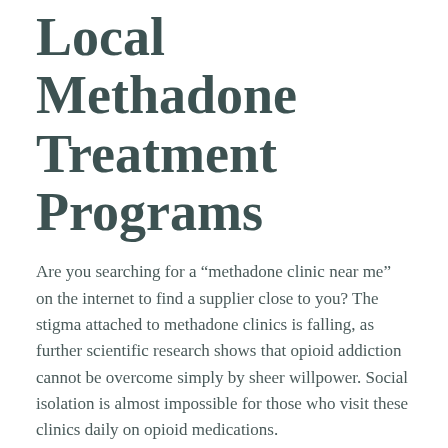Local Methadone Treatment Programs
Are you searching for a “methadone clinic near me” on the internet to find a supplier close to you? The stigma attached to methadone clinics is falling, as further scientific research shows that opioid addiction cannot be overcome simply by sheer willpower. Social isolation is almost impossible for those who visit these clinics daily on opioid medications.
During this initial phase, most people can go to a methadone clinic to get off, but forget about the daily dose. Some clinics also offer daily doses of methadone, which allows patients to avoid painful withdrawal symptoms while staying off opioids.